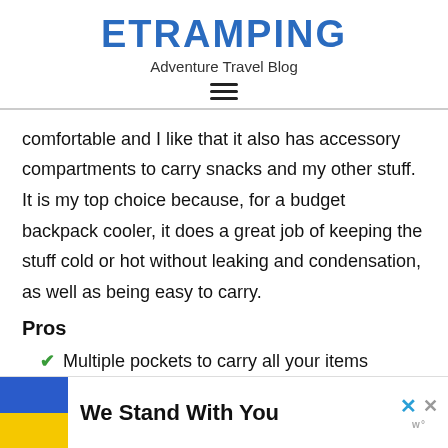ETRAMPING
Adventure Travel Blog
comfortable and I like that it also has accessory compartments to carry snacks and my other stuff. It is my top choice because, for a budget backpack cooler, it does a great job of keeping the stuff cold or hot without leaking and condensation, as well as being easy to carry.
Pros
Multiple pockets to carry all your items
[Figure (other): Advertisement banner: Ukrainian flag (blue and yellow) on left, text 'We Stand With You', close buttons (blue X and grey X) on right with small logo]